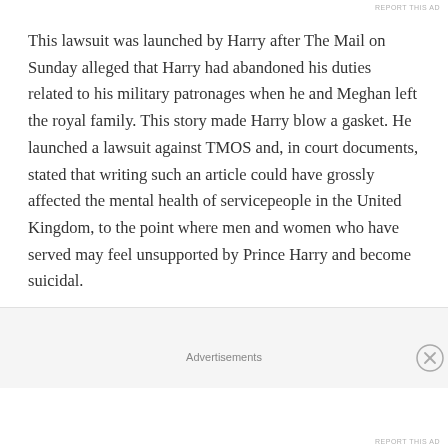REPORT THIS AD
This lawsuit was launched by Harry after The Mail on Sunday alleged that Harry had abandoned his duties related to his military patronages when he and Meghan left the royal family. This story made Harry blow a gasket. He launched a lawsuit against TMOS and, in court documents, stated that writing such an article could have grossly affected the mental health of servicepeople in the United Kingdom, to the point where men and women who have served may feel unsupported by Prince Harry and become suicidal.
Advertisements
REPORT THIS AD